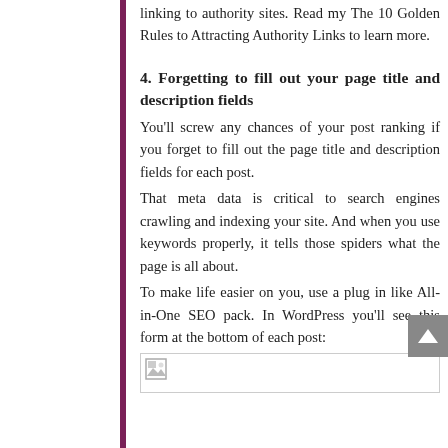linking to authority sites. Read my The 10 Golden Rules to Attracting Authority Links to learn more.
4. Forgetting to fill out your page title and description fields
You'll screw any chances of your post ranking if you forget to fill out the page title and description fields for each post.
That meta data is critical to search engines crawling and indexing your site. And when you use keywords properly, it tells those spiders what the page is all about.
To make life easier on you, use a plug in like All-in-One SEO pack. In WordPress you'll see this form at the bottom of each post:
[Figure (screenshot): Broken image icon placeholder representing a screenshot of the All-in-One SEO pack form in WordPress]